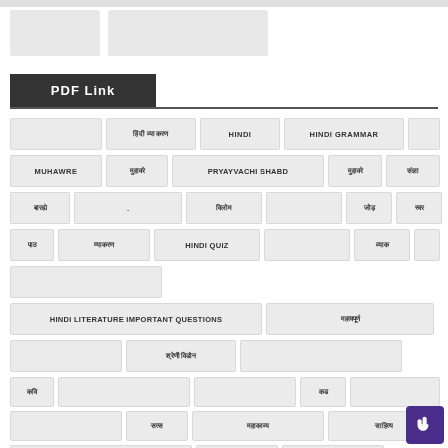PDF Link
HINDI
HINDI GRAMMAR
MUHAWRE
PRYAYVACHI SHABD
HINDI QUIZ
HINDI LITERATURE IMPORTANT QUESTIONS
[Figure (other): Floating cursor/hand icon button in purple]